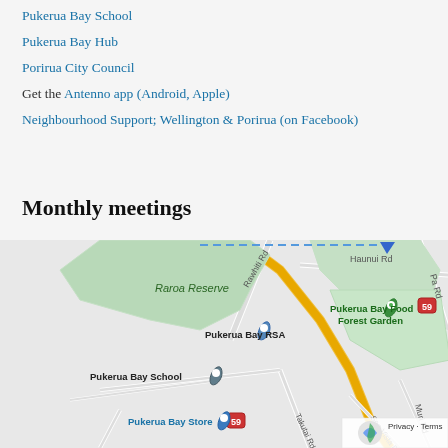Pukerua Bay School
Pukerua Bay Hub
Porirua City Council
Get the Antenno app (Android, Apple)
Neighbourhood Support; Wellington & Porirua (on Facebook)
Monthly meetings
[Figure (map): Google Maps screenshot showing Pukerua Bay area with landmarks: Raroa Reserve, Pukerua Bay RSA, Pukerua Bay Food Forest Garden, Pukerua Bay School, Pukerua Bay Store, roads including Rawhiti Rd, Haunui Rd, Pa Rd, Takutai Rd, Sea Vista Dr, Muri Rd, and route 59. Privacy - Terms watermark in bottom right.]